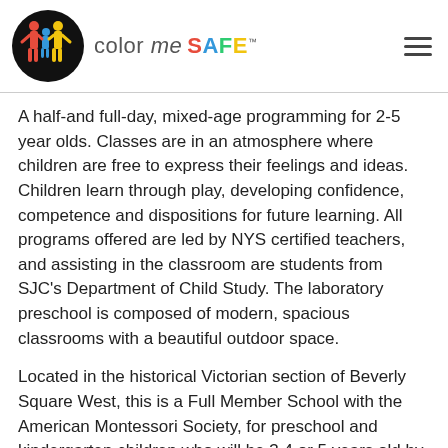[Figure (logo): Color Me Safe logo — black circle with red, yellow and blue figure illustration of adults and child, with 'color me SAFE' text in mixed colors]
A half-and full-day, mixed-age programming for 2-5 year olds. Classes are in an atmosphere where children are free to express their feelings and ideas. Children learn through play, developing confidence, competence and dispositions for future learning. All programs offered are led by NYS certified teachers, and assisting in the classroom are students from SJC's Department of Child Study. The laboratory preschool is composed of modern, spacious classrooms with a beautiful outdoor space.
Located in the historical Victorian section of Beverly Square West, this is a Full Member School with the American Montessori Society, for preschool and kindergarten children who will be 3,4 or 5 years old by 12/31 of the year they're enrolled. EAM has a small class size of only 12 children per session with 2 Montessori...